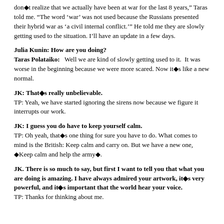don’t realize that we actually have been at war for the last 8 years,” Taras told me. “The word ‘war’ was not used because the Russians presented their hybrid war as ‘a civil internal conflict.’” He told me they are slowly getting used to the situation. I’ll have an update in a few days.
Julia Kunin: How are you doing?
Taras Polataiko:   Well we are kind of slowly getting used to it.  It was worse in the beginning because we were more scared. Now it�s like a new normal.
JK: That�s really unbelievable.
TP: Yeah, we have started ignoring the sirens now because we figure it interrupts our work.
JK: I guess you do have to keep yourself calm.
TP: Oh yeah, that�s one thing for sure you have to do. What comes to mind is the British: Keep calm and carry on. But we have a new one, �Keep calm and help the army�.
JK. There is so much to say, but first I want to tell you that what you are doing is amazing. I have always admired your artwork, it�s very powerful, and it�s important that the world hear your voice.
TP: Thanks for thinking about me.